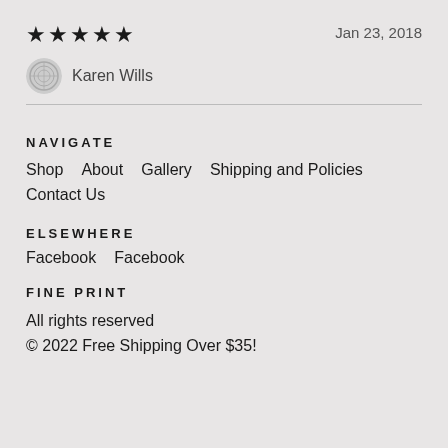★★★★★    Jan 23, 2018
Karen Wills
NAVIGATE
Shop   About   Gallery   Shipping and Policies   Contact Us
ELSEWHERE
Facebook   Facebook
FINE PRINT
All rights reserved
© 2022 Free Shipping Over $35!